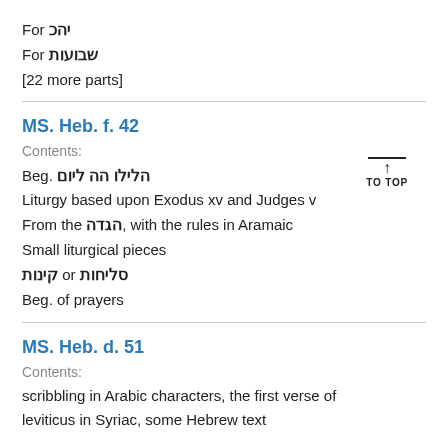For יהכ
For שבועות
[22 more parts]
MS. Heb. f. 42
Contents:
Beg. הלילו הה ליום
Liturgy based upon Exodus xv and Judges v
From the הגדה, with the rules in Aramaic
Small liturgical pieces
קינות or סליחות
Beg. of prayers
MS. Heb. d. 51
Contents:
scribbling in Arabic characters, the first verse of leviticus in Syriac, some Hebrew text